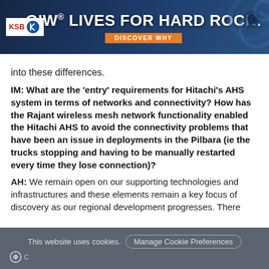[Figure (other): GIW® LIVES FOR HARD ROCK. advertisement banner with KSB logo and DISCOVER WHY button]
into these differences.
IM: What are the 'entry' requirements for Hitachi's AHS system in terms of networks and connectivity? How has the Rajant wireless mesh network functionality enabled the Hitachi AHS to avoid the connectivity problems that have been an issue in deployments in the Pilbara (ie the trucks stopping and having to be manually restarted every time they lose connection)?
AH: We remain open on our supporting technologies and infrastructures and these elements remain a key focus of discovery as our regional development progresses. There
This website uses cookies.   Manage Cookie Preferences